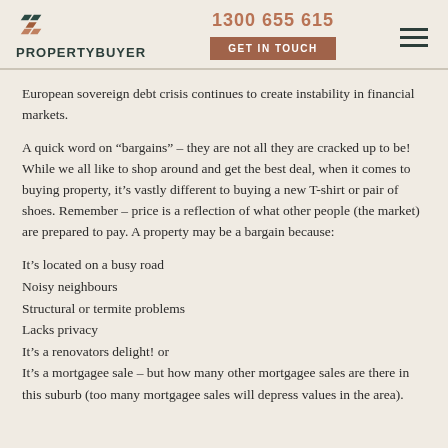PROPERTYBUYER | 1300 655 615 | GET IN TOUCH
European sovereign debt crisis continues to create instability in financial markets.
A quick word on “bargains” – they are not all they are cracked up to be! While we all like to shop around and get the best deal, when it comes to buying property, it’s vastly different to buying a new T-shirt or pair of shoes. Remember – price is a reflection of what other people (the market) are prepared to pay. A property may be a bargain because:
It’s located on a busy road
Noisy neighbours
Structural or termite problems
Lacks privacy
It’s a renovators delight! or
It’s a mortgagee sale – but how many other mortgagee sales are there in this suburb (too many mortgagee sales will depress values in the area).